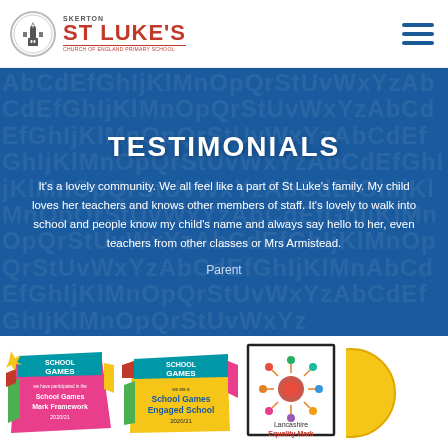[Figure (logo): Skerton St Luke's Church of England Primary School logo with circular emblem]
TESTIMONIALS
It's a lovely community. We all feel like a part of St Luke's family. My child loves her teachers and knows other members of staff. It's lovely to walk into school and people know my child's name and always say hello to her, even teachers from other classes or Mrs Armistead.
Parent
[Figure (logo): School Games Mark Framework 2020/21 badge - colorful logo with pink and teal design]
[Figure (logo): School Games Engaged School 2020/21 badge - yellow and colorful logo]
[Figure (logo): Lancashire Equality Mark badge in a black bordered square frame]